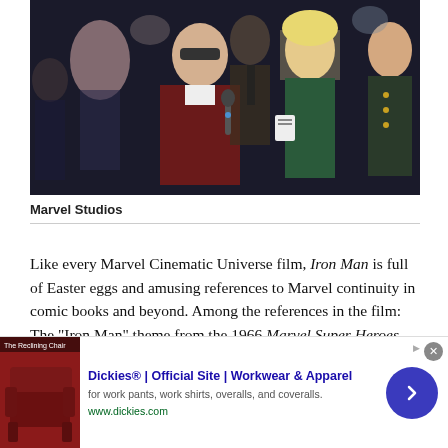[Figure (photo): A group of people at what appears to be a formal or red carpet event. An elderly man in a dark jacket is prominent in the center, surrounded by other people including a blonde woman in a green dress and a person in military uniform on the right.]
Marvel Studios
Like every Marvel Cinematic Universe film, Iron Man is full of Easter eggs and amusing references to Marvel continuity in comic books and beyond. Among the references in the film: The “Iron Man” theme from the 1966 Marvel Super Heroes animated TV series can be heard as Rhodey’s ringtone, the Ten
[Figure (screenshot): Advertisement banner for Dickies® showing a red chair image on the left, text 'Dickies® | Official Site | Workwear & Apparel' with subtext 'for work pants, work shirts, overalls, and coveralls.' and url 'www.dickies.com', and a blue circular arrow button on the right. An X close button and an Ad label appear at top right.]